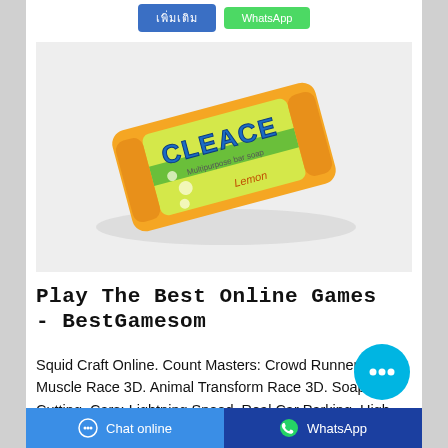[Figure (other): Two buttons at top: a blue button with Thai text and a green WhatsApp button]
[Figure (photo): Product photo of a Cleace lemon multipurpose bar soap in orange and yellow packaging on white background]
Play The Best Online Games - BestGamesom
Squid Craft Online. Count Masters: Crowd Runner 3D. Muscle Race 3D. Animal Transform Race 3D. Soap Cutting. Cars: Lightning Speed. Real Car Parking. High Pizza. Helix Jump. Tiles Hop. Makeover Run. Snake
[Figure (other): Floating cyan chat bubble button with three dots]
Chat online   WhatsApp